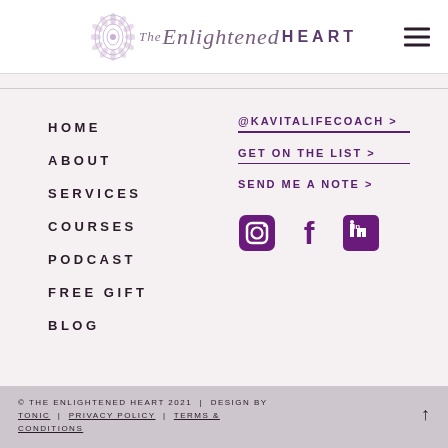[Figure (logo): The Enlightened Heart logo with mandala and stylized script text]
HOME
ABOUT
SERVICES
COURSES
PODCAST
FREE GIFT
BLOG
@KAVITALIFECOACH >
GET ON THE LIST >
SEND ME A NOTE >
[Figure (illustration): Social media icons: Instagram, Facebook, LinkedIn]
© THE ENLIGHTENED HEART 2021 | DESIGN BY TONIC | PRIVACY POLICY | TERMS & CONDITIONS